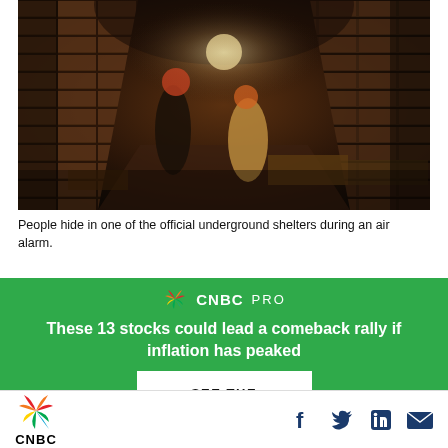[Figure (photo): People hiding in a dark underground brick tunnel shelter during an air alarm. The tunnel is narrow with stone/brick walls and a light visible in the distance.]
People hide in one of the official underground shelters during an air alarm.
[Figure (screenshot): CNBC PRO advertisement overlay with green background. Headline: 'These 13 stocks could lead a comeback rally if inflation has peaked'. Button: 'SEE THE STOCKS'.]
[Figure (logo): CNBC logo in footer with social sharing icons: Facebook, Twitter, LinkedIn, Email.]